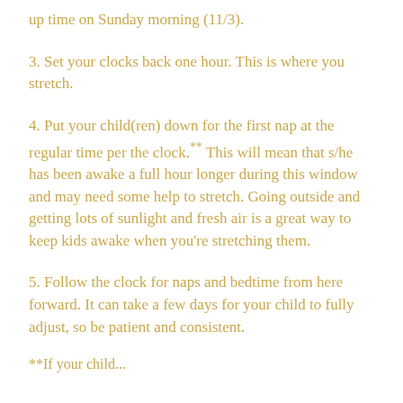up time on Sunday morning (11/3).
3. Set your clocks back one hour. This is where you stretch.
4. Put your child(ren) down for the first nap at the regular time per the clock.** This will mean that s/he has been awake a full hour longer during this window and may need some help to stretch. Going outside and getting lots of sunlight and fresh air is a great way to keep kids awake when you're stretching them.
5. Follow the clock for naps and bedtime from here forward. It can take a few days for your child to fully adjust, so be patient and consistent.
**If your child...